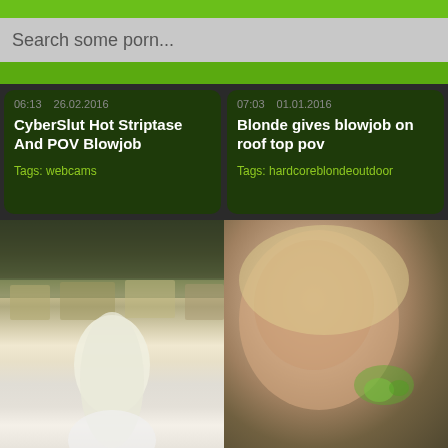Search some porn...
06:13  26.02.2016  |  CyberSlut Hot Striptase And POV Blowjob  |  Tags: webcams
07:03  01.01.2016  |  Blonde gives blowjob on roof top pov  |  Tags: hardcoreblondeoutdoor
[Figure (photo): Thumbnail of video showing rooftop scene with blonde woman viewed from behind]
[Figure (photo): Thumbnail of video showing close-up of blonde woman's face]